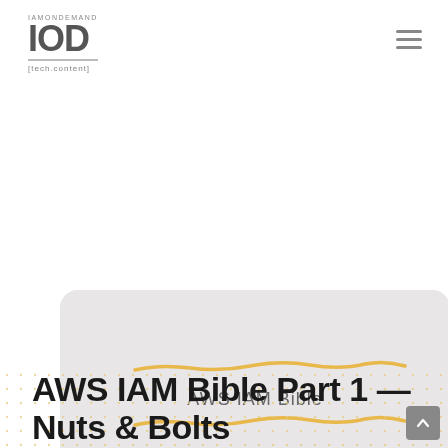IAMONDEMAND IOD [tech.content]
[Figure (illustration): Light grey rounded rectangle card containing decorative yellow/gold wavy lines above and below the centered text 'AWS IAM Bible', with 'PART I' below and an IOD logo badge in the bottom-right corner.]
AWS IAM Bible Part 1 — Nuts & Bolts